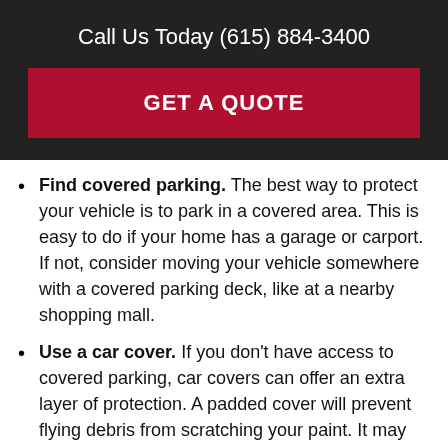Call Us Today (615) 884-3400
GET A QUOTE
Find covered parking. The best way to protect your vehicle is to park in a covered area. This is easy to do if your home has a garage or carport. If not, consider moving your vehicle somewhere with a covered parking deck, like at a nearby shopping mall.
Use a car cover. If you don't have access to covered parking, car covers can offer an extra layer of protection. A padded cover will prevent flying debris from scratching your paint. It may even protect against dents and broken glass caused by